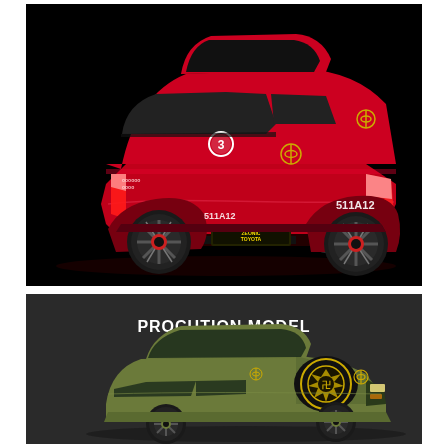[Figure (photo): Rear three-quarter view of a bright red Toyota hatchback with custom body kit, sporting race livery including '511A12' numbering on the side and rear quarter, number '3' roundel, Zeonic Toyota badge on the rear bumper, gold Toyota logo emblem, and 'ZEONIC TOYOTA' license plate surround. The car has large multi-spoke wheels with red accents and an aggressive rear diffuser. Set against a black background.]
[Figure (photo): Front three-quarter view of a military olive green Toyota compact hatchback on a dark grey background. The car features a large gold/black Zeonic emblem (Zeon logo from Gundam) on the hood, gold Toyota emblem, and subtle body kit modifications. Text overlay reads 'PROCUTION MODEL' in white bold font near the top of the image.]